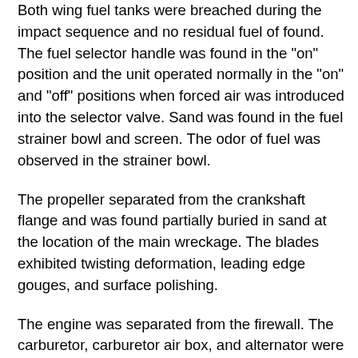Both wing fuel tanks were breached during the impact sequence and no residual fuel of found. The fuel selector handle was found in the "on" position and the unit operated normally in the "on" and "off" positions when forced air was introduced into the selector valve. Sand was found in the fuel strainer bowl and screen. The odor of fuel was observed in the strainer bowl.
The propeller separated from the crankshaft flange and was found partially buried in sand at the location of the main wreckage. The blades exhibited twisting deformation, leading edge gouges, and surface polishing.
The engine was separated from the firewall. The carburetor, carburetor air box, and alternator were missing and were not located. All engine components were subjected to salt water and sand immersion. The carburetor flange was fractured from impact and was still attached to the oil sump. The carburetor data plate was lodged into the induction tube at the oil sump.
The valve covers, magnetos, vacuum pump, and exhaust